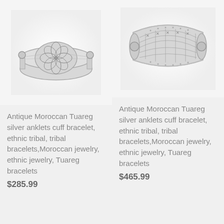[Figure (photo): Antique Moroccan Tuareg silver cuff bracelet with engraved floral/geometric pattern on white background]
Antique Moroccan Tuareg silver anklets cuff bracelet, ethnic tribal, tribal bracelets,Moroccan jewelry, ethnic jewelry, Tuareg bracelets
$285.99
[Figure (photo): Antique Moroccan Tuareg silver cuff bracelet with cross-hatch and geometric engravings, wide band, white background]
Antique Moroccan Tuareg silver anklets cuff bracelet, ethnic tribal, tribal bracelets,Moroccan jewelry, ethnic jewelry, Tuareg bracelets
$465.99